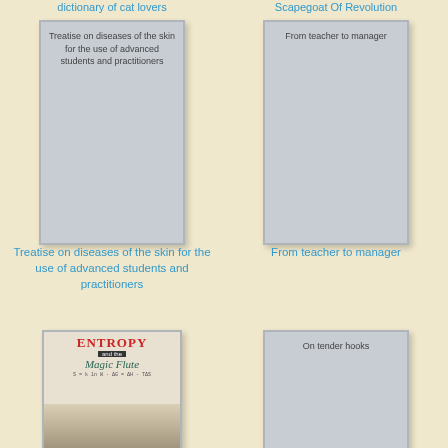dictionary of cat lovers
Scapegoat Of Revolution
[Figure (illustration): Book cover placeholder with text: Treatise on diseases of the skin for the use of advanced students and practitioners]
[Figure (illustration): Book cover placeholder with text: From teacher to manager]
Treatise on diseases of the skin for the use of advanced students and practitioners
From teacher to manager
[Figure (photo): Book cover: Entropy and the Magic Flute]
[Figure (illustration): Book cover placeholder with text: On tender hooks]